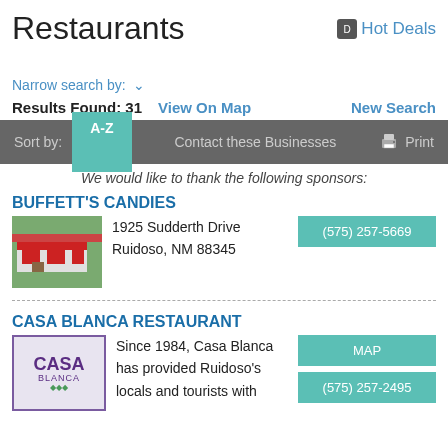Restaurants
Hot Deals
Narrow search by: ˅
Results Found: 31   View On Map   New Search
Sort by: A-Z   Contact these Businesses   Print
We would like to thank the following sponsors:
BUFFETT'S CANDIES
1925 Sudderth Drive
Ruidoso, NM 88345
(575) 257-5669
CASA BLANCA RESTAURANT
MAP
(575) 257-2495
Since 1984, Casa Blanca has provided Ruidoso's locals and tourists with